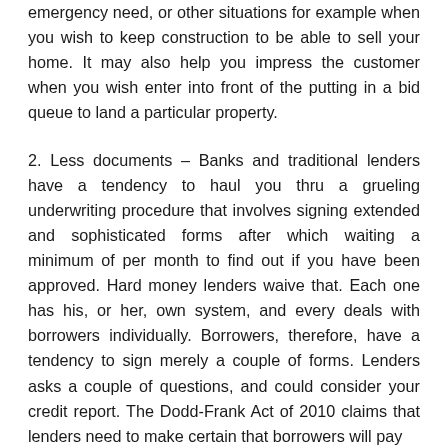emergency need, or other situations for example when you wish to keep construction to be able to sell your home. It may also help you impress the customer when you wish enter into front of the putting in a bid queue to land a particular property.
2. Less documents – Banks and traditional lenders have a tendency to haul you thru a grueling underwriting procedure that involves signing extended and sophisticated forms after which waiting a minimum of per month to find out if you have been approved. Hard money lenders waive that. Each one has his, or her, own system, and every deals with borrowers individually. Borrowers, therefore, have a tendency to sign merely a couple of forms. Lenders asks a couple of questions, and could consider your credit report. The Dodd-Frank Act of 2010 claims that lenders need to make certain that borrowers will pay